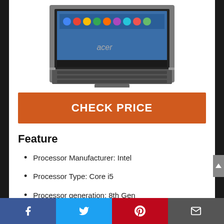[Figure (photo): Acer Chromebook laptop open, showing Chrome OS interface on screen, gray body with keyboard visible]
CHECK PRICE
Feature
Processor Manufacturer: Intel
Processor Type: Core i5
Processor generation: 8th Gen
Processor model: i5-8250U
Social share bar: Facebook, Twitter, Pinterest, Email